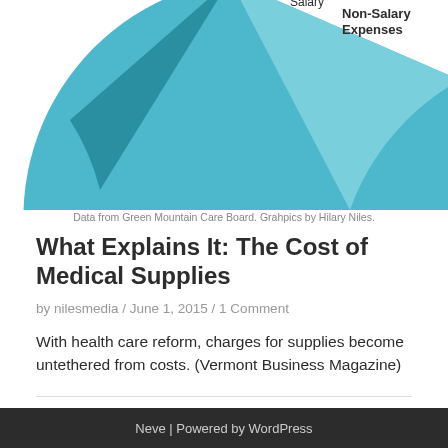[Figure (pie-chart): Partial pie chart visible at top of page showing segments including 'Non-Salary Expenses' label visible in legend/label area. Teal/blue colored pie slices.]
Data from Green Mountain Care Board. Grahpics by Hilary Niles.
What Explains It: The Cost of Medical Supplies
by nilesmedia / June 1, 2015 / 1 Comment
With health care reform, charges for supplies become untethered from costs. (Vermont Business Magazine)